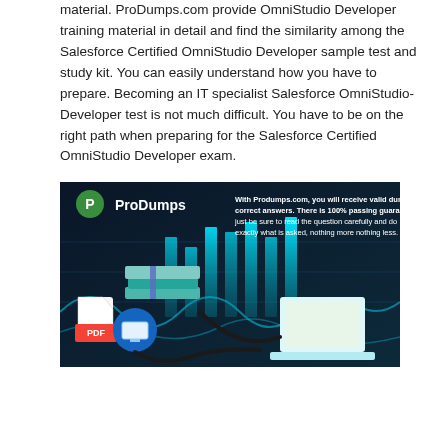material. ProDumps.com provide OmniStudio Developer training material in detail and find the similarity among the Salesforce Certified OmniStudio Developer sample test and study kit. You can easily understand how you have to prepare. Becoming an IT specialist Salesforce OmniStudio-Developer test is not much difficult. You have to be on the right path when preparing for the Salesforce Certified OmniStudio Developer exam.
[Figure (infographic): ProDumps.com promotional banner featuring stacked books connected via cable to a laptop, with PDF and monitor icons, bar chart visualization in background. Text reads: 'With Produmps.com, you will receive valid dumps & correct answers. There is 100% passing guarantee, just be sure to read the question carefully and do exactly what is asked, nothing more nothing less.']
[Figure (infographic): Row of six circular icons at the bottom: 100% guarantee (red), security lock (blue), person/support (dark), live support chat (green), cloud/free update (grey), and star rating community (yellow/gold). Labels partially visible below each icon.]